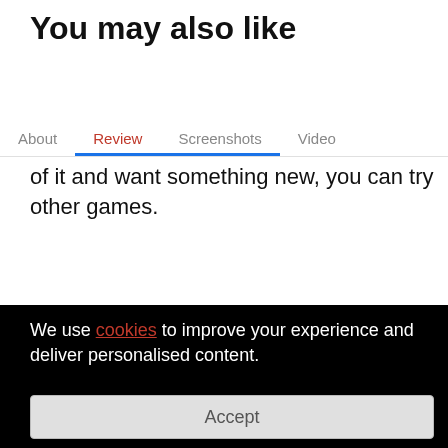You may also like
About  Review  Screenshots  Video
of it and want something new, you can try other games.
We use cookies to improve your experience and deliver personalised content.
Accept